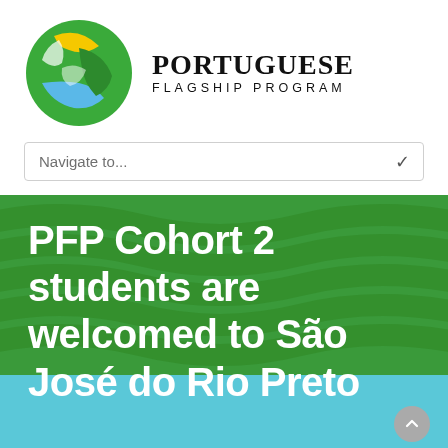[Figure (logo): Portuguese Flagship Program logo: circular design with green, yellow, and blue swooping shapes, next to bold serif text reading PORTUGUESE FLAGSHIP PROGRAM]
Navigate to...
PFP Cohort 2 students are welcomed to São José do Rio Preto